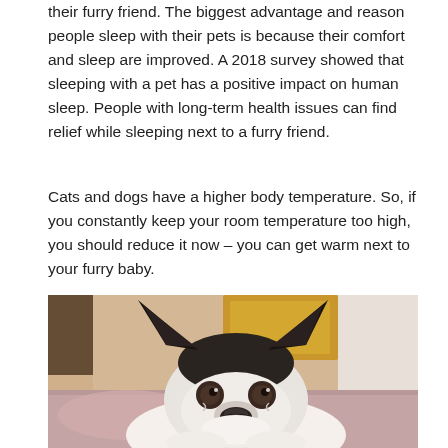their furry friend. The biggest advantage and reason people sleep with their pets is because their comfort and sleep are improved. A 2018 survey showed that sleeping with a pet has a positive impact on human sleep. People with long-term health issues can find relief while sleeping next to a furry friend.
Cats and dogs have a higher body temperature. So, if you constantly keep your room temperature too high, you should reduce it now – you can get warm next to your furry baby.
[Figure (photo): A black and white French Bulldog lying on a bed with pink/mauve bedding, looking upward at the camera with large ears prominent. Warm-toned bedroom background with a yellow artwork visible.]